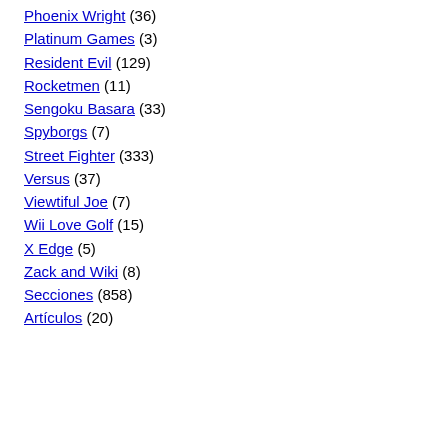Phoenix Wright (36)
Platinum Games (3)
Resident Evil (129)
Rocketmen (11)
Sengoku Basara (33)
Spyborgs (7)
Street Fighter (333)
Versus (37)
Viewtiful Joe (7)
Wii Love Golf (15)
X Edge (5)
Zack and Wiki (8)
Secciones (858)
Artículos (20)